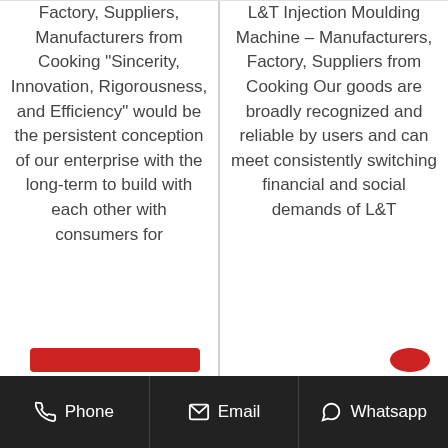Factory, Suppliers, Manufacturers from Cooking "Sincerity, Innovation, Rigorousness, and Efficiency" would be the persistent conception of our enterprise with the long-term to build with each other with consumers for
L&T Injection Moulding Machine – Manufacturers, Factory, Suppliers from Cooking Our goods are broadly recognized and reliable by users and can meet consistently switching financial and social demands of L&T
Phone  Email  Whatsapp